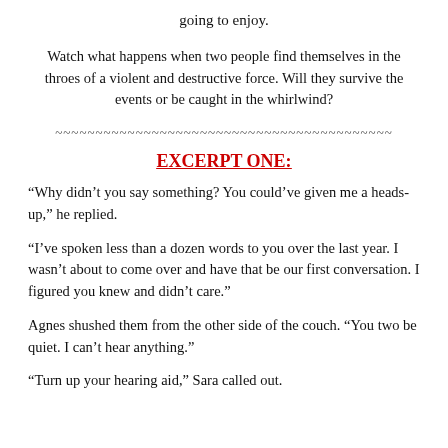going to enjoy.
Watch what happens when two people find themselves in the throes of a violent and destructive force. Will they survive the events or be caught in the whirlwind?
~~~~~~~~~~~~~~~~~~~~~~~~~~~~~~~~~~~~~~~~~~
EXCERPT ONE:
“Why didn’t you say something? You could’ve given me a heads-up,” he replied.
“I’ve spoken less than a dozen words to you over the last year. I wasn’t about to come over and have that be our first conversation. I figured you knew and didn’t care.”
Agnes shushed them from the other side of the couch. “You two be quiet. I can’t hear anything.”
“Turn up your hearing aid,” Sara called out.